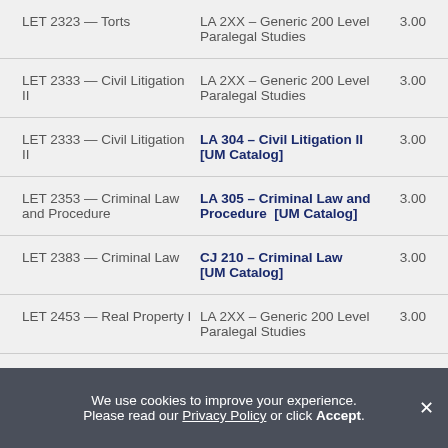| Course | Equivalent | Credits |
| --- | --- | --- |
| LET 2323 — Torts | LA 2XX – Generic 200 Level Paralegal Studies | 3.00 |
| LET 2333 — Civil Litigation II | LA 2XX – Generic 200 Level Paralegal Studies | 3.00 |
| LET 2333 — Civil Litigation II | LA 304 – Civil Litigation II [UM Catalog] | 3.00 |
| LET 2353 — Criminal Law and Procedure | LA 305 – Criminal Law and Procedure [UM Catalog] | 3.00 |
| LET 2383 — Criminal Law | CJ 210 – Criminal Law [UM Catalog] | 3.00 |
| LET 2453 — Real Property I | LA 2XX – Generic 200 Level Paralegal Studies | 3.00 |
We use cookies to improve your experience. Please read our Privacy Policy or click Accept.